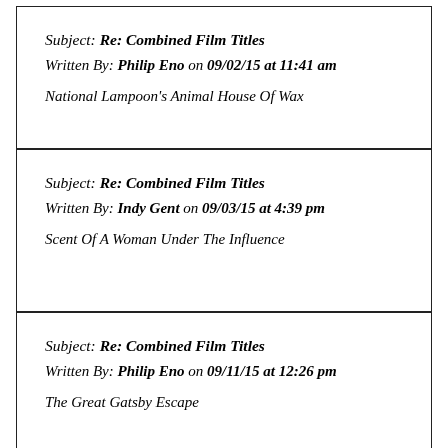Subject: Re: Combined Film Titles
Written By: Philip Eno on 09/02/15 at 11:41 am

National Lampoon's Animal House Of Wax
Subject: Re: Combined Film Titles
Written By: Indy Gent on 09/03/15 at 4:39 pm

Scent Of A Woman Under The Influence
Subject: Re: Combined Film Titles
Written By: Philip Eno on 09/11/15 at 12:26 pm

The Great Gatsby Escape